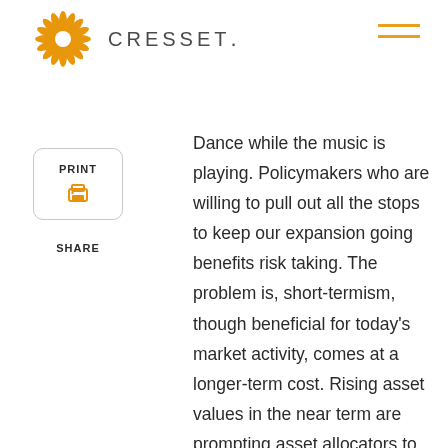CRESSET.
PRINT
SHARE
Dance while the music is playing. Policymakers who are willing to pull out all the stops to keep our expansion going benefits risk taking. The problem is, short-termism, though beneficial for today’s market activity, comes at a longer-term cost. Rising asset values in the near term are prompting asset allocators to reduce their long-term return assumptions. Asset class forecasts recently published by famed